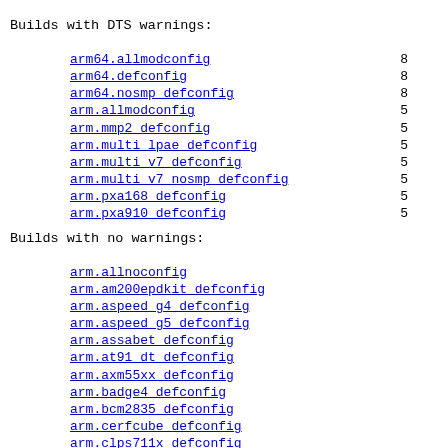Builds with DTS warnings:
arm64.allmodconfig   8
arm64.defconfig   8
arm64.nosmp_defconfig   8
arm.allmodconfig   5
arm.mmp2_defconfig   5
arm.multi_lpae_defconfig   5
arm.multi_v7_defconfig   5
arm.multi_v7_nosmp_defconfig   5
arm.pxa168_defconfig   5
arm.pxa910_defconfig   5
Builds with no warnings:
arm.allnoconfig
arm.am200epdkit_defconfig
arm.aspeed_g4_defconfig
arm.aspeed_g5_defconfig
arm.assabet_defconfig
arm.at91_dt_defconfig
arm.axm55xx_defconfig
arm.badge4_defconfig
arm.bcm2835_defconfig
arm.cerfcube_defconfig
arm.clps711x_defconfig
arm.cm_x300_defconfig
arm.cns3420vb_defconfig